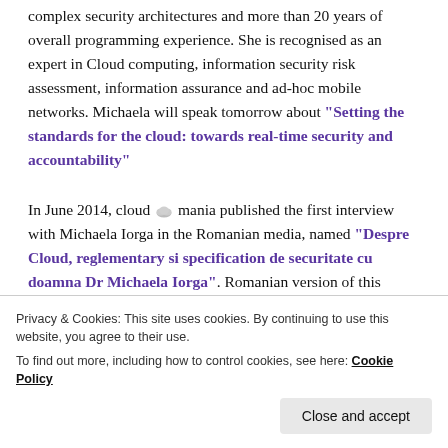complex security architectures and more than 20 years of overall programming experience. She is recognised as an expert in Cloud computing, information security risk assessment, information assurance and ad-hoc mobile networks. Michaela will speak tomorrow about “Setting the standards for the cloud: towards real-time security and accountability”
In June 2014, cloud [cloud icon] mania published the first interview with Michaela Iorga in the Romanian media, named “Despre Cloud, reglementary si specification de securitate cu doamna Dr Michaela Iorga”. Romanian version of this interview was published also in “Catalog Cloud Computing Romania – 2nd Edition. IaaS” released in June 2014.
Privacy & Cookies: This site uses cookies. By continuing to use this website, you agree to their use.
To find out more, including how to control cookies, see here: Cookie Policy